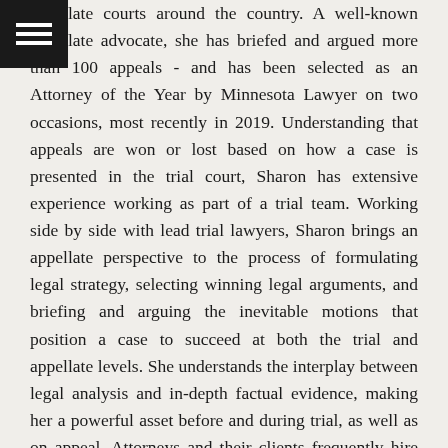appellate courts around the country. A well-known appellate advocate, she has briefed and argued more than 100 appeals - and has been selected as an Attorney of the Year by Minnesota Lawyer on two occasions, most recently in 2019. Understanding that appeals are won or lost based on how a case is presented in the trial court, Sharon has extensive experience working as part of a trial team. Working side by side with lead trial lawyers, Sharon brings an appellate perspective to the process of formulating legal strategy, selecting winning legal arguments, and briefing and arguing the inevitable motions that position a case to succeed at both the trial and appellate levels. She understands the interplay between legal analysis and in-depth factual evidence, making her a powerful asset before and during trial, as well as on appeal. Attorneys and their clients frequently hire her to handle all aspects of dispositive and other critical motions that can make or break a case at the trial court level. She is known for her communication skills, persuasive briefing and oral argument, and the high